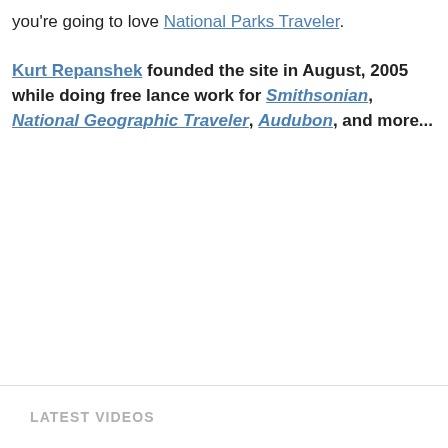you're going to love National Parks Traveler. Kurt Repanshek founded the site in August, 2005 while doing free lance work for Smithsonian, National Geographic Traveler, Audubon, and more...
LATEST VIDEOS